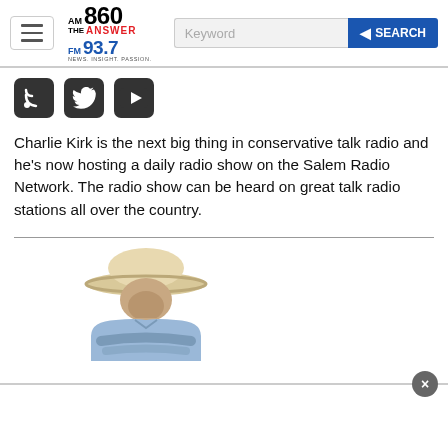AM 860 THE ANSWER FM 93.7 NEWS. INSIGHT. PASSION. [Keyword] SEARCH
[Figure (screenshot): Three social media icon buttons: RSS feed (black square with RSS icon), Twitter (black square with bird icon), YouTube (black square with play button icon)]
Charlie Kirk is the next big thing in conservative talk radio and he's now hosting a daily radio show on the Salem Radio Network. The radio show can be heard on great talk radio stations all over the country.
[Figure (photo): A man wearing a white cowboy hat and a light blue shirt, arms crossed, shown from approximately the waist up against a white background.]
[Figure (screenshot): Advertisement overlay bar at the bottom of the page with a close (X) button in the upper right corner.]